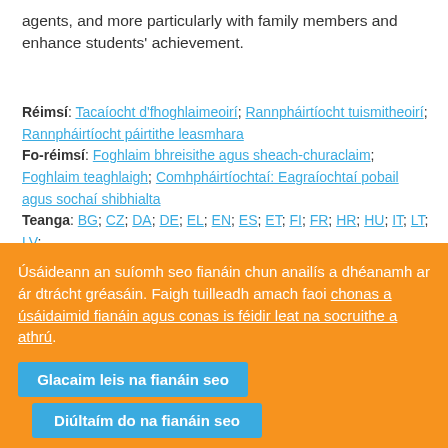agents, and more particularly with family members and enhance students' achievement.
Réimsí: Tacaíocht d'fhoghlaimeoirí; Rannpháirtíocht tuismitheoirí; Rannpháirtíocht páirtithe leasmhara
Fo-réimsí: Foghlaim bhreisithe agus sheach-churaclaim; Foghlaim teaghlaigh; Comhpháirtíochtaí: Eagraíochtaí pobail agus sochaí shibhialta
Teanga: BG; CZ; DA; DE; EL; EN; ES; ET; FI; FR; HR; HU; IT; LT; LV; MT; NL; PL; PT; RO; SK; SL; SV
Tír: AN ALBÁIN; AN BHEILG; AN BHULGÁIR; AN CHIPIR; AN CHRÓIT; AN DANMHAIRG; AN EASTÓIN; AN FHIONLAINN; AN FHRAINC; AN GHEARMÁIN; AN GHRÉIG; AN IODÁIL; AN IORUA; AN LAITVIA; AN LIOTUÁIN; AN OSTAIR; AN PHOLAINN; AN
Úsáideann an suíomh seo fianáin chun anailís a dhéanamh ar ár dtrácht gréasáin. Faigh tuilleadh amach faoi chonas a úsáidaimid fianáin agus conas is féidir leat na socruithe a athrú.
Glacaim leis na fianáin seo
Diúltaím do na fianáin seo